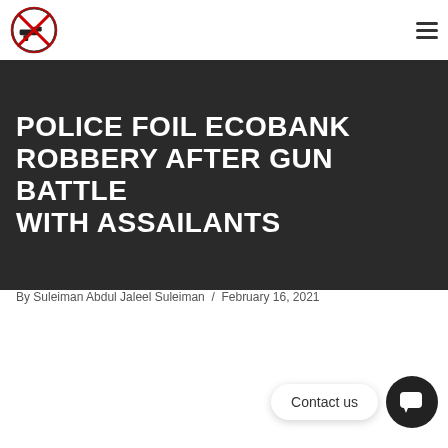POLICE FOIL ECOBANK ROBBERY AFTER GUN BATTLE WITH ASSAILANTS
By Suleiman Abdul Jaleel Suleiman  /  February 16, 2021